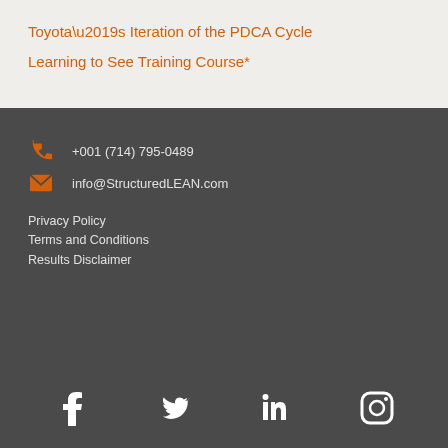Toyota’s Iteration of the PDCA Cycle
Learning to See Training Course*
+001 (714) 795-0489
info@StructuredLEAN.com
Privacy Policy
Terms and Conditions
Results Disclaimer
[Figure (infographic): Social media icons: Facebook, Twitter, LinkedIn, Instagram in white on dark grey background]